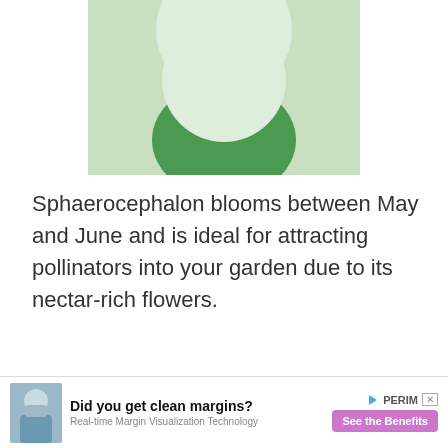[Figure (illustration): Abstract illustration showing green and light green overlapping circular shapes on a light green background, representing an allium or plant motif.]
Sphaerocephalon blooms between May and June and is ideal for attracting pollinators into your garden due to its nectar-rich flowers.
Whether you choose to plant a vegetable or ornamental alliums, or perhaps a combination of both, they will offer a wide
[Figure (screenshot): Advertisement banner: 'Did you get clean margins?' with a photo of a surgeon, PERIM logo, and 'See the Benefits' button. Subtext: Real-time Margin Visualization Technology.]